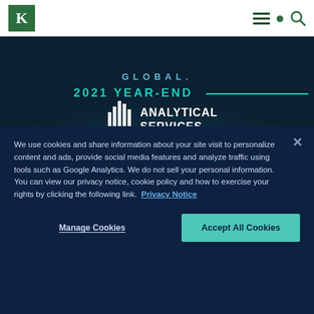Kantos — navigation bar with logo, hamburger menu, and search icon
[Figure (illustration): Dark navy banner image showing 'GLOBAL. 2021 YEAR-END' text with a teal horizontal line and 'ANALYTICAL SERVICES' text with a bar chart icon, set over a dark landscape silhouette]
JANUARY 13, 2022
2021 Year-End Kantos Kommentary: Current
We use cookies and share information about your site visit to personalize content and ads, provide social media features and analyze traffic using tools such as Google Analytics. We do not sell your personal information. You can view our privacy notice, cookie policy and how to exercise your rights by clicking the following link.  Privacy Notice
Manage Cookies
Accept All Cookies